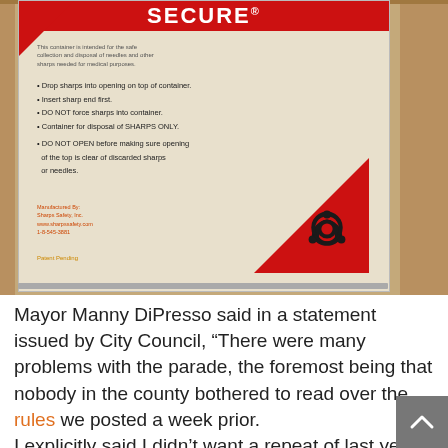[Figure (photo): Close-up photo of a sharps disposal container with a red top bar reading 'SECURE', a biohazard symbol in a red triangle in the lower right corner, and printed safety instructions on the label.]
Mayor Manny DiPresso said in a statement issued by City Council, “There were many problems with the parade, the foremost being that nobody in the county bothered to read over the rules we posted a week prior. I explicitly said I didn’t want a repeat of last year’s